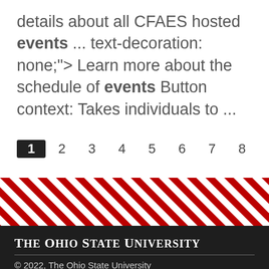details about all CFAES hosted events ... text-decoration: none;"> Learn more about the schedule of events Button context: Takes individuals to ...
1  2  3  4  5  6  7  8  9  ···next ›  last »
[Figure (other): Diagonal red and white striped decorative banner]
The Ohio State University
© 2022, The Ohio State University
Office Location
The Wilbur A. Gould Food Industries Center